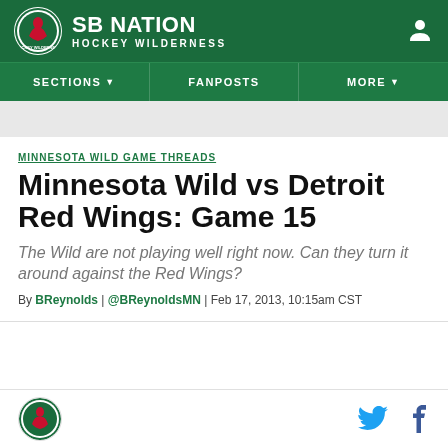SB NATION | HOCKEY WILDERNESS
MINNESOTA WILD GAME THREADS
Minnesota Wild vs Detroit Red Wings: Game 15
The Wild are not playing well right now. Can they turn it around against the Red Wings?
By BReynolds | @BReynoldsMN | Feb 17, 2013, 10:15am CST